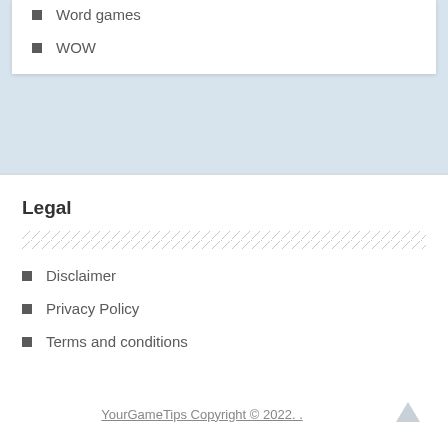Word games
WOW
Legal
Disclaimer
Privacy Policy
Terms and conditions
YourGameTips Copyright © 2022. .